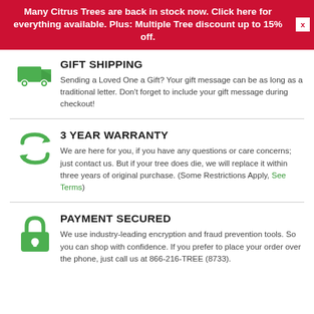Many Citrus Trees are back in stock now. Click here for everything available. Plus: Multiple Tree discount up to 15% off.
GIFT SHIPPING
Sending a Loved One a Gift? Your gift message can be as long as a traditional letter. Don't forget to include your gift message during checkout!
3 YEAR WARRANTY
We are here for you, if you have any questions or care concerns; just contact us. But if your tree does die, we will replace it within three years of original purchase. (Some Restrictions Apply, See Terms)
PAYMENT SECURED
We use industry-leading encryption and fraud prevention tools. So you can shop with confidence. If you prefer to place your order over the phone, just call us at 866-216-TREE (8733).